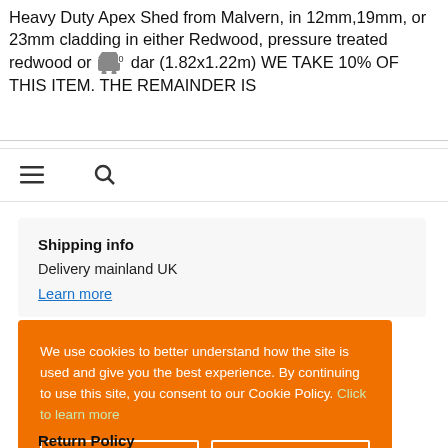Heavy Duty Apex Shed from Malvern, in 12mm,19mm, or 23mm cladding in either Redwood, pressure treated redwood or Cedar (1.82x1.22m) WE TAKE 10% OF THIS ITEM. THE REMAINDER IS
[Figure (screenshot): Navigation bar with hamburger menu icon and search icon]
Shipping info
Delivery mainland UK
Learn more
We use cookies to better understand how the site is used and give you the best experience. By continuing to use this site, you consent to our Cookie Policy. Click to learn more
All Cookies
Default Cookies
Return Policy